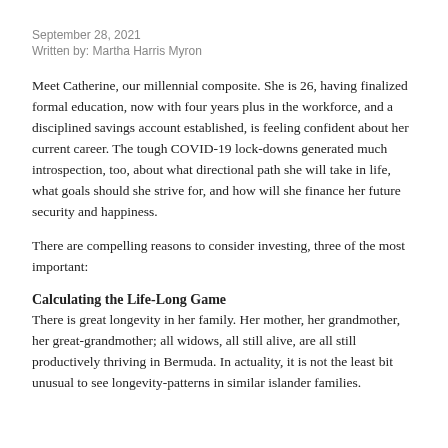September 28, 2021
Written by: Martha Harris Myron
Meet Catherine, our millennial composite. She is 26, having finalized formal education, now with four years plus in the workforce, and a disciplined savings account established, is feeling confident about her current career. The tough COVID-19 lock-downs generated much introspection, too, about what directional path she will take in life, what goals should she strive for, and how will she finance her future security and happiness.
There are compelling reasons to consider investing, three of the most important:
Calculating the Life-Long Game
There is great longevity in her family. Her mother, her grandmother, her great-grandmother; all widows, all still alive, are all still productively thriving in Bermuda. In actuality, it is not the least bit unusual to see longevity-patterns in similar islander families.